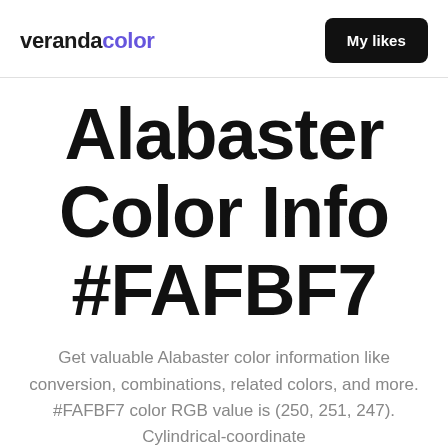verandacolor   My likes
Alabaster Color Info #FAFBF7
Get valuable Alabaster color information like conversion, combinations, related colors, and more. #FAFBF7 color RGB value is (250, 251, 247). Cylindrical-coordinate